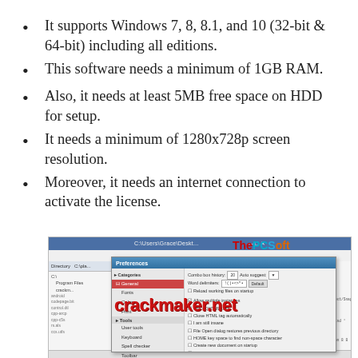It supports Windows 7, 8, 8.1, and 10 (32-bit & 64-bit) including all editions.
This software needs a minimum of 1GB RAM.
Also, it needs at least 5MB free space on HDD for setup.
It needs a minimum of 1280x728p screen resolution.
Moreover, it needs an internet connection to activate the license.
[Figure (screenshot): Screenshot of a software application (likely EditPad or similar text editor) showing a Preferences dialog with categories panel on the left (General selected in red) and options on the right. A 'crackmaker.net' watermark overlays the image, and a 'ThePCSoft' logo is visible in the title bar area.]